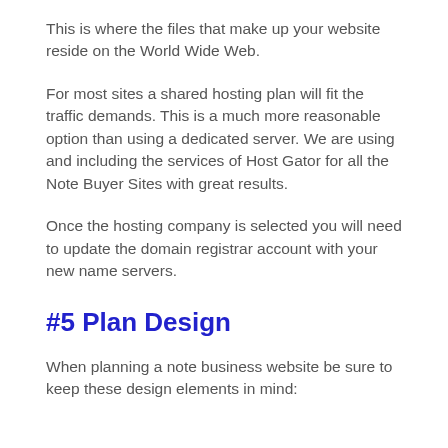This is where the files that make up your website reside on the World Wide Web.
For most sites a shared hosting plan will fit the traffic demands. This is a much more reasonable option than using a dedicated server. We are using and including the services of Host Gator for all the Note Buyer Sites with great results.
Once the hosting company is selected you will need to update the domain registrar account with your new name servers.
#5 Plan Design
When planning a note business website be sure to keep these design elements in mind: